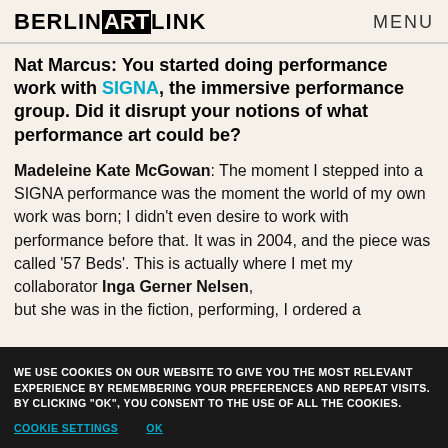BERLINARTLINK   MENU
Nat Marcus: You started doing performance work with SIGNA, the immersive performance group. Did it disrupt your notions of what performance art could be?
Madeleine Kate McGowan: The moment I stepped into a SIGNA performance was the moment the world of my own work was born; I didn't even desire to work with performance before that. It was in 2004, and the piece was called '57 Beds'. This is actually where I met my collaborator Inga Gerner Nelsen, but she was in the fiction, performing, I ordered a
WE USE COOKIES ON OUR WEBSITE TO GIVE YOU THE MOST RELEVANT EXPERIENCE BY REMEMBERING YOUR PREFERENCES AND REPEAT VISITS. BY CLICKING "OK", YOU CONSENT TO THE USE OF ALL THE COOKIES.
COOKIE SETTINGS   OK